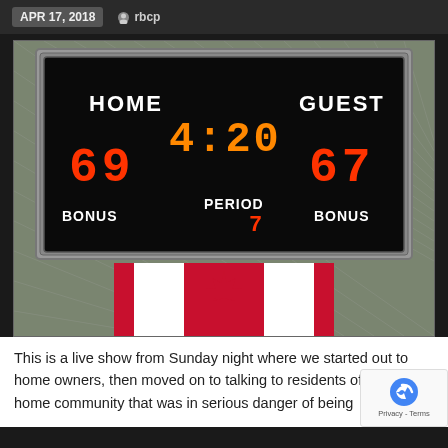APR 17, 2018  rbcp
[Figure (photo): Photo of a scoreboard showing HOME 69, GUEST 67, clock 4:20, PERIOD 7, with BONUS labels on both sides, mounted in a chain-link fence cage. Below the scoreboard hangs a Canadian flag.]
This is a live show from Sunday night where we started out to home owners, then moved on to talking to residents of a mobile home community that was in serious danger of being